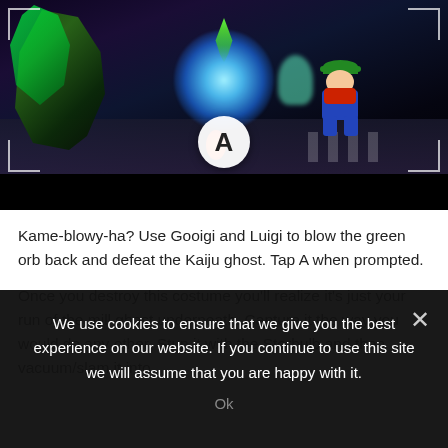[Figure (screenshot): Video game screenshot from Luigi's Mansion 3 showing a battle scene with Gooigi and Luigi blowing a green orb, with a glowing blue/cyan energy orb in the center, dark atmospheric background with purple lighting, characters including Luigi visible on the right side. Corner bracket UI elements visible. A button prompt shown at bottom center of the gameplay area.]
Kame-blowy-ha? Use Gooigi and Luigi to blow the green orb back and defeat the Kaiju ghost. Tap A when prompted.
Once you destroy this costume you'll realize it's just your run of the mill ghost underneath. Capture it the way you would do any other. Stun it with the Storbulb and then vacuum/slam it into
We use cookies to ensure that we give you the best experience on our website. If you continue to use this site we will assume that you are happy with it.
Ok